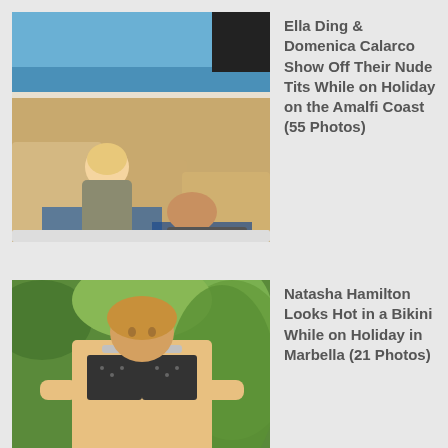[Figure (photo): Two women sunbathing on a yacht deck with blue ocean in background]
Ella Ding & Domenica Calarco Show Off Their Nude Tits While on Holiday on the Amalfi Coast (55 Photos)
[Figure (photo): Woman in a bikini with jeweled top standing outdoors with tropical foliage in background]
Natasha Hamilton Looks Hot in a Bikini While on Holiday in Marbella (21 Photos)